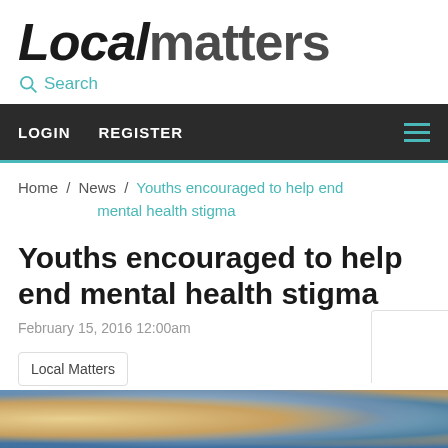Localmatters
Search
LOGIN   REGISTER
Home / News / Youths encouraged to help end mental health stigma
Youths encouraged to help end mental health stigma
February 15, 2016 12:00am
Local Matters
[Figure (photo): Bottom strip showing a partial photo of people, partially obscured, with colorful painted background]